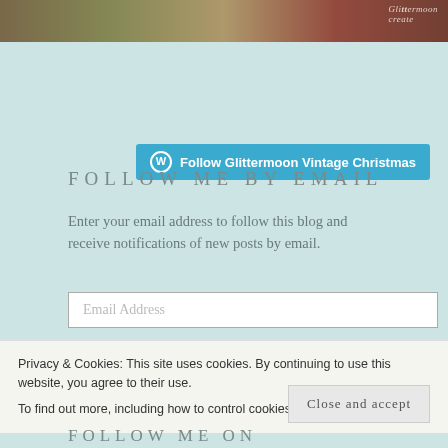[Figure (photo): Decorative photo strip showing Christmas/vintage items at top of page, with Glittermoon watermark text in top right]
[Figure (other): WordPress follow button: blue rounded button with W icon and text 'Follow Glittermoon Vintage Christmas']
FOLLOW ME BY EMAIL
Enter your email address to follow this blog and receive notifications of new posts by email.
Email Address
Privacy & Cookies: This site uses cookies. By continuing to use this website, you agree to their use.
To find out more, including how to control cookies, see here: Cookie Policy
Close and accept
FOLLOW ME ON